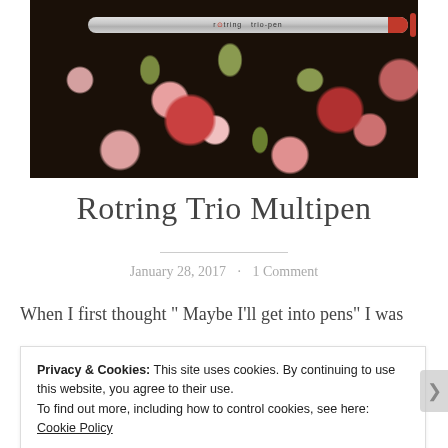[Figure (photo): Photo of a Rotring Trio-Pen multipen placed on a dark floral fabric featuring red and pink roses with green leaves. The pen is silver/grey with a red accent band near the clip.]
Rotring Trio Multipen
January 28, 2017 · 1 Comment
When I first thought " Maybe I'll get into pens" I was
Privacy & Cookies: This site uses cookies. By continuing to use this website, you agree to their use.
To find out more, including how to control cookies, see here: Cookie Policy
Close and accept